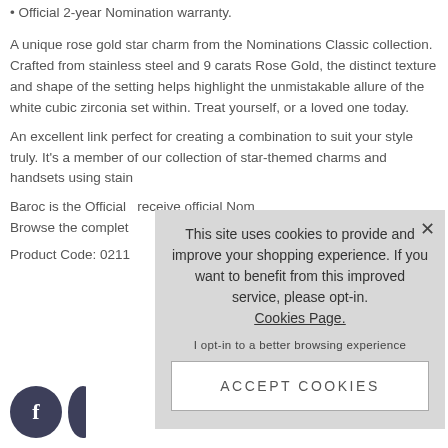Official 2-year Nomination warranty.
A unique rose gold star charm from the Nominations Classic collection. Crafted from stainless steel and 9 carats Rose Gold, the distinct texture and shape of the setting helps highlight the unmistakable allure of the white cubic zirconia set within. Treat yourself, or a loved one today.
An excellent link perfect for creating a combination to suit your style truly. It's a member of our collection of star-themed charms and handsets using stain
Baroc is the Official receive official Nom Browse the complet
Product Code: 0211
[Figure (screenshot): Cookie consent overlay with text: This site uses cookies to provide and improve your shopping experience. If you want to benefit from this improved service, please opt-in. Cookies Page. An opt-in note and an ACCEPT COOKIES button.]
[Figure (other): Two social media circular buttons (Facebook and one more partially visible) in dark navy color at bottom left of page.]